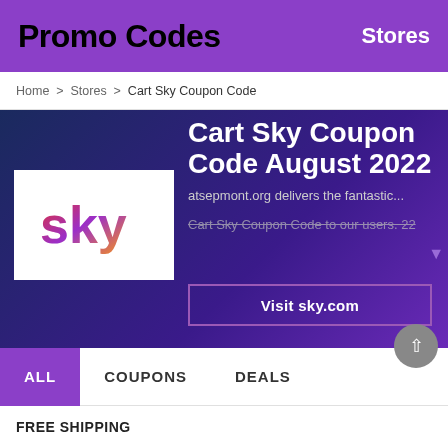Promo Codes   Stores
Home > Stores > Cart Sky Coupon Code
Cart Sky Coupon Code August 2022
atsepmont.org delivers the fantastic... Cart Sky Coupon Code to our users. 22
Visit sky.com
ALL   COUPONS   DEALS
FREE SHIPPING